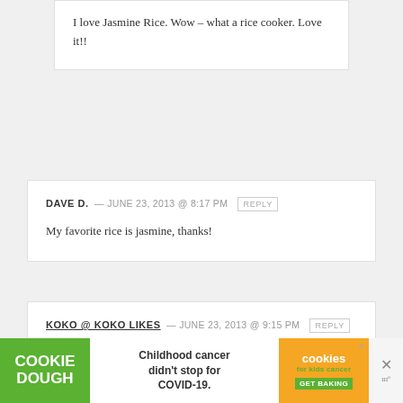I love Jasmine Rice. Wow – what a rice cooker. Love it!!
DAVE D. — JUNE 23, 2013 @ 8:17 PM  REPLY
My favorite rice is jasmine, thanks!
KOKO @ KOKO LIKES — JUNE 23, 2013 @ 9:15 PM  REPLY
WE LOVE our Zojirushi, seriously we use it almost every night! I am SO excited to try this rice!
[Figure (other): Advertisement banner for Cookie Dough / cookies for kids cancer. Green left panel with 'COOKIE DOUGH' text, white center with 'Childhood cancer didn’t stop for COVID-19.', orange right panel with cookies branding and GET BAKING CTA.]